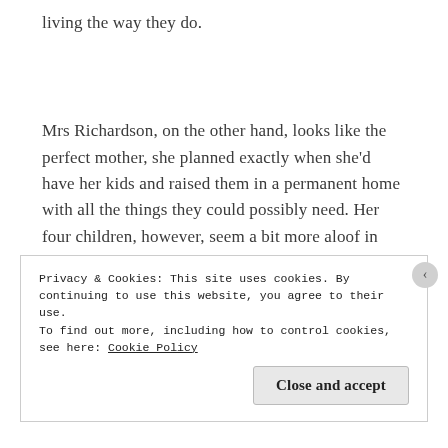living the way they do.
Mrs Richardson, on the other hand, looks like the perfect mother, she planned exactly when she’d have her kids and raised them in a permanent home with all the things they could possibly need. Her four children, however, seem a bit more aloof in their relationship with her. They see her as the
Privacy & Cookies: This site uses cookies. By continuing to use this website, you agree to their use.
To find out more, including how to control cookies, see here: Cookie Policy
Close and accept